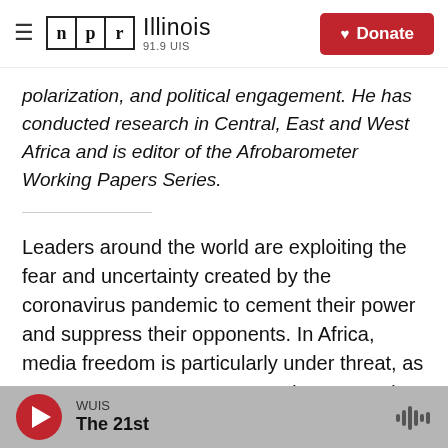NPR Illinois 91.9 UIS | Donate
polarization, and political engagement. He has conducted research in Central, East and West Africa and is editor of the Afrobarometer Working Papers Series.
Leaders around the world are exploiting the fear and uncertainty created by the coronavirus pandemic to cement their power and suppress their opponents. In Africa, media freedom is particularly under threat, as governments use emergency decrees and disinformation laws to
WUIS The 21st